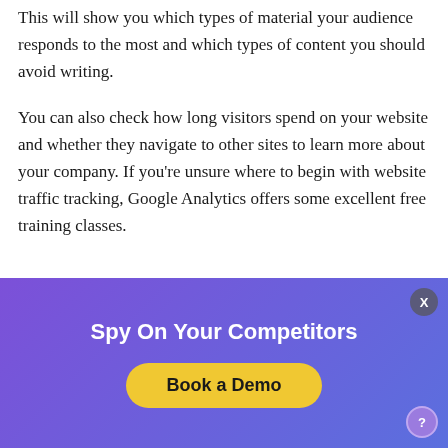This will show you which types of material your audience responds to the most and which types of content you should avoid writing.
You can also check how long visitors spend on your website and whether they navigate to other sites to learn more about your company. If you're unsure where to begin with website traffic tracking, Google Analytics offers some excellent free training classes.
TRACK...
[Figure (other): Purple/blue gradient advertisement banner with text 'Spy On Your Competitors', a yellow 'Book a Demo' button, an X close button in the top right, and a help (?) button in the bottom right.]